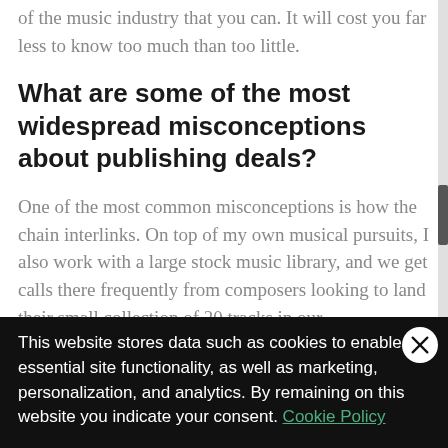and learn everything about the business side of the music industry that you can. It will cost you far less to know too much than too little.
What are some of the most widespread misconceptions about publishing deals?
One of the most common misconceptions is how the chain interlinks. On top of my own musical pursuits, I also work with a large stock music library, and we get calls there frequently from composers looking to land their small collection of 20 tracks in our
This website stores data such as cookies to enable essential site functionality, as well as marketing, personalization, and analytics. By remaining on this website you indicate your consent. Cookie Policy